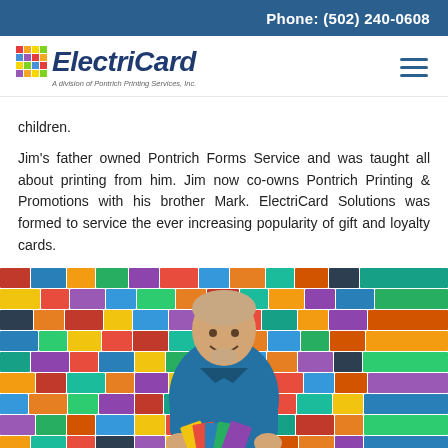Phone: (502) 240-0608
[Figure (logo): ElectriCard logo with colorful icon, italic bold blue text 'ElectriCard', tagline 'A division of Pontrich Printing Services, Inc.']
children.
Jim's father owned Pontrich Forms Service and was taught all about printing from him. Jim now co-owns Pontrich Printing & Promotions with his brother Mark. ElectriCard Solutions was formed to service the ever increasing popularity of gift and loyalty cards.
[Figure (photo): A man in a blue polo shirt smiling and holding gift/loyalty cards, standing in front of a wall covered with hundreds of colorful gift and loyalty cards.]